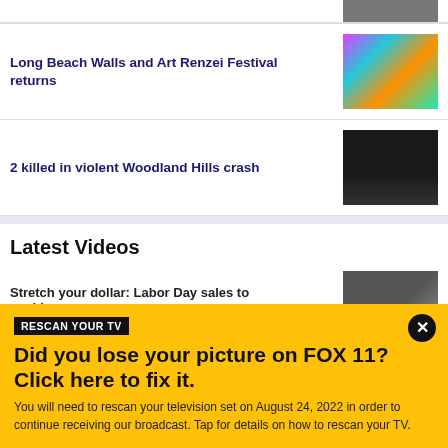[Figure (photo): Partial thumbnail image at top right, cropped]
Long Beach Walls and Art Renzei Festival returns
[Figure (photo): Colorful mural with a face, vibrant blue/pink/orange colors]
2 killed in violent Woodland Hills crash
[Figure (photo): Nighttime crash scene with emergency vehicles and lights]
Latest Videos
Stretch your dollar: Labor Day sales to avoid
[Figure (photo): Video thumbnail for Labor Day sales segment]
RESCAN YOUR TV
Did you lose your picture on FOX 11? Click here to fix it.
You will need to rescan your television set on August 24, 2022 in order to continue receiving our broadcast. Tap for details on how to rescan your TV.